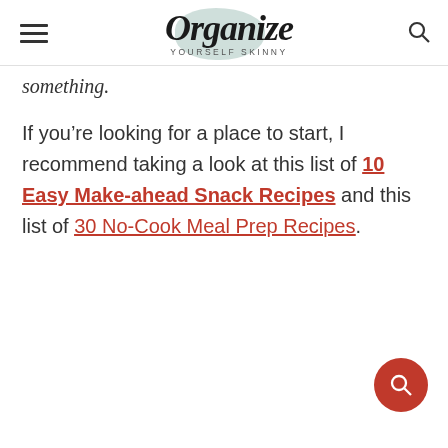Organize Yourself Skinny
something.
If you’re looking for a place to start, I recommend taking a look at this list of 10 Easy Make-ahead Snack Recipes and this list of 30 No-Cook Meal Prep Recipes.